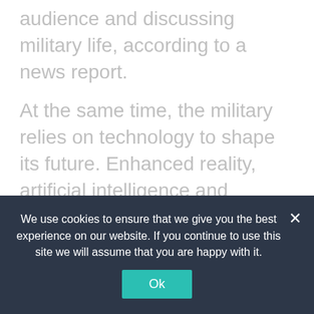audience and discussing military life, according to a news report.
At the same time, the military relies on technology to shape its future. Enhanced reality, artificial intelligence and automatic and unmanned weapons with increasing technical skills called for recruitment. In February, the Naval Research Office unveiled a study showing that playing a first-person shooting game can make a really good fighter. The researchers said that playing the game could improve cognitive processes, peripheral vision and ability to learn functions better.
We use cookies to ensure that we give you the best experience on our website. If you continue to use this site we will assume that you are happy with it.